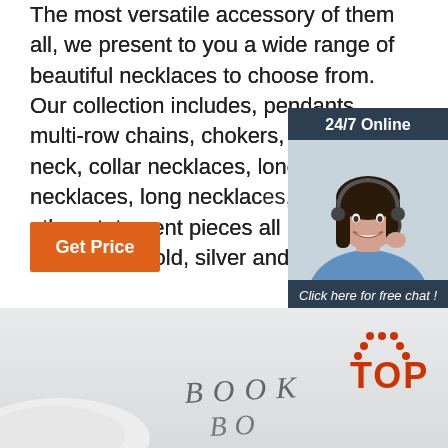The most versatile accessory of them all, we present to you a wide range of beautiful necklaces to choose from. Our collection includes, pendants, multi-row chains, chokers, crown neck, collar necklaces, long necklaces, long necklaces, various other statement pieces all bejeweled plated with gold, silver and rose gold.
Get Price
[Figure (infographic): 24/7 Online chat widget with a female customer service representative wearing a headset, and a 'Click here for free chat!' message with a QUOTATION button]
[Figure (photo): Bottom section showing a book with 'BOOK' text visible and a TOP logo in orange/red in the bottom right corner]